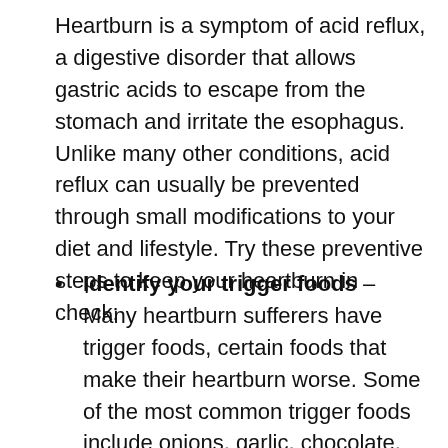Heartburn is a symptom of acid reflux, a digestive disorder that allows gastric acids to escape from the stomach and irritate the esophagus. Unlike many other conditions, acid reflux can usually be prevented through small modifications to your diet and lifestyle. Try these preventive steps to keep your heartburn in check:
Identify your trigger foods – Many heartburn sufferers have trigger foods, certain foods that make their heartburn worse. Some of the most common trigger foods include onions, garlic, chocolate, tomatoes and peppermint. However, it's important to identify which foods affect you personally. What causes heartburn in one person may